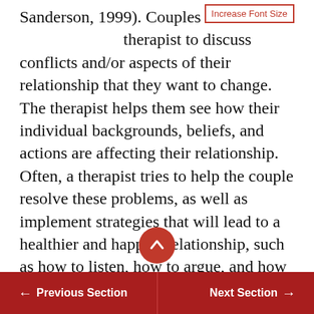Sanderson, 1999). Couples meet with a therapist to discuss conflicts and/or aspects of their relationship that they want to change. The therapist helps them see how their individual backgrounds, beliefs, and actions are affecting their relationship. Often, a therapist tries to help the couple resolve these problems, as well as implement strategies that will lead to a healthier and happier relationship, such as how to listen, how to argue, and how to express feelings. However, sometimes, after working with a therapist, a couple will decide that they are too incompatible and will choose to separate. Some couples seek therapy to work out their problems, while others attend therapy
← Previous Section    Next Section →